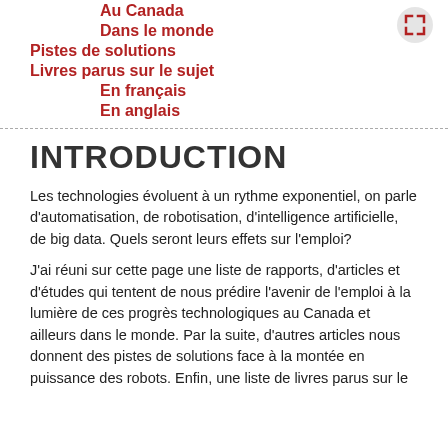Au Canada
Dans le monde
Pistes de solutions
Livres parus sur le sujet
En français
En anglais
INTRODUCTION
Les technologies évoluent à un rythme exponentiel, on parle d'automatisation, de robotisation, d'intelligence artificielle, de big data. Quels seront leurs effets sur l'emploi?
J'ai réuni sur cette page une liste de rapports, d'articles et d'études qui tentent de nous prédire l'avenir de l'emploi à la lumière de ces progrès technologiques au Canada et ailleurs dans le monde. Par la suite, d'autres articles nous donnent des pistes de solutions face à la montée en puissance des robots. Enfin, une liste de livres parus sur le